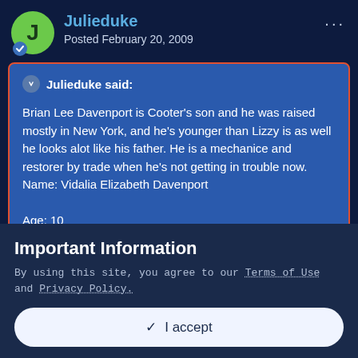Julieduke
Posted February 20, 2009
Julieduke said:
Brian Lee Davenport is Cooter's son and he was raised mostly in New York, and he's younger than Lizzy is as well he looks alot like his father. He is a mechanice and restorer by trade when he's not getting in trouble now.
Name: Vidalia Elizabeth Davenport

Age: 10

She is Brian's and Ophelia's daughter and she was in
Important Information
By using this site, you agree to our Terms of Use and Privacy Policy.
✓  I accept